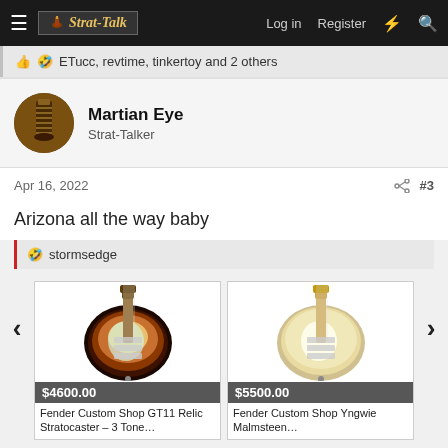Strat-Talk | Log in | Register
👍 🤣 ETucc, revtime, tinkertoy and 2 others
Martian Eye
Strat-Talker
Apr 16, 2022  #3
Arizona all the way baby
🤣 stormsedge
[Figure (photo): Fender Custom Shop GT11 Relic Stratocaster in 3-tone sunburst finish, priced at $4600.00]
[Figure (photo): Fender Custom Shop Yngwie Malmsteen Stratocaster in vintage white/cream finish, priced at $5500.00]
Fender Custom Shop GT11 Relic Stratocaster – 3 Tone…
Fender Custom Shop Yngwie Malmsteen…